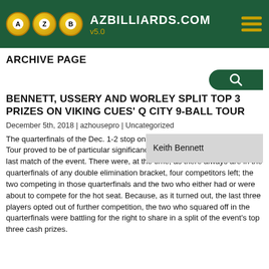AZBILLIARDS.COM v5.0
ARCHIVE PAGE
BENNETT, USSERY AND WORLEY SPLIT TOP 3 PRIZES ON VIKING CUES' Q CITY 9-BALL TOUR
December 5th, 2018 | azhousepro | Uncategorized
[Figure (photo): Keith Bennett - tooltip/caption overlay on image]
The quarterfinals of the Dec. 1-2 stop on the Viking Cues' Q City 9-Ball Tour proved to be of particular significance, because it happened to be the last match of the event. There were, at the time, as there always are in the quarterfinals of any double elimination bracket, four competitors left; the two competing in those quarterfinals and the two who either had or were about to compete for the hot seat. Because, as it turned out, the last three players opted out of further competition, the two who squared off in the quarterfinals were battling for the right to share in a split of the event's top three cash prizes.